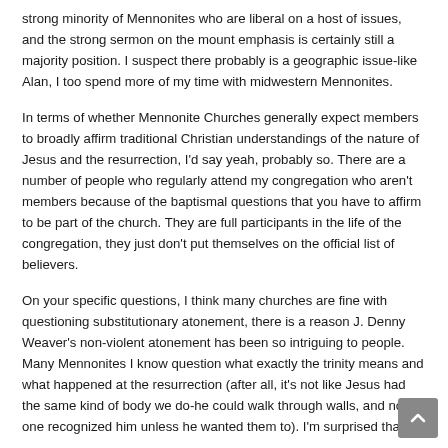strong minority of Mennonites who are liberal on a host of issues, and the strong sermon on the mount emphasis is certainly still a majority position. I suspect there probably is a geographic issue-like Alan, I too spend more of my time with midwestern Mennonites.
In terms of whether Mennonite Churches generally expect members to broadly affirm traditional Christian understandings of the nature of Jesus and the resurrection, I'd say yeah, probably so. There are a number of people who regularly attend my congregation who aren't members because of the baptismal questions that you have to affirm to be part of the church. They are full participants in the life of the congregation, they just don't put themselves on the official list of believers.
On your specific questions, I think many churches are fine with questioning substitutionary atonement, there is a reason J. Denny Weaver's non-violent atonement has been so intriguing to people. Many Mennonites I know question what exactly the trinity means and what happened at the resurrection (after all, it's not like Jesus had the same kind of body we do-he could walk through walls, and no one recognized him unless he wanted them to). I'm surprised that the